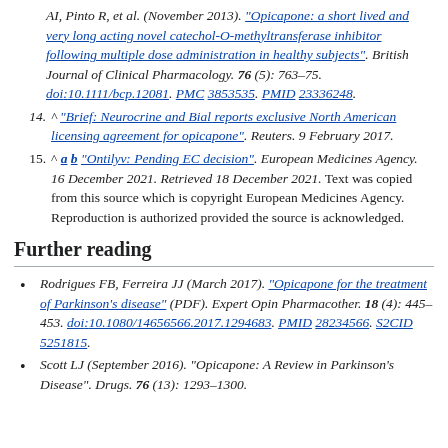AI, Pinto R, et al. (November 2013). "Opicapone: a short lived and very long acting novel catechol-O-methyltransferase inhibitor following multiple dose administration in healthy subjects". British Journal of Clinical Pharmacology. 76 (5): 763–75. doi:10.1111/bcp.12081. PMC 3853535. PMID 23336248.
14. ^ "Brief: Neurocrine and Bial reports exclusive North American licensing agreement for opicapone". Reuters. 9 February 2017.
15. ^ a b "Ontilyv: Pending EC decision". European Medicines Agency. 16 December 2021. Retrieved 18 December 2021. Text was copied from this source which is copyright European Medicines Agency. Reproduction is authorized provided the source is acknowledged.
Further reading
Rodrigues FB, Ferreira JJ (March 2017). "Opicapone for the treatment of Parkinson's disease" (PDF). Expert Opin Pharmacother. 18 (4): 445–453. doi:10.1080/14656566.2017.1294683. PMID 28234566. S2CID 5251815.
Scott LJ (September 2016). "Opicapone: A Review in Parkinson's Disease". Drugs. 76 (13): 1293–1300.